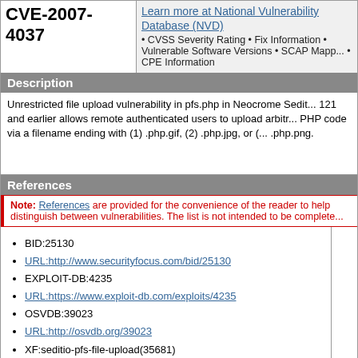CVE-2007-4037
Learn more at National Vulnerability Database (NVD) • CVSS Severity Rating • Fix Information • Vulnerable Software Versions • SCAP Mappings • CPE Information
Description
Unrestricted file upload vulnerability in pfs.php in Neocrome Seditio 121 and earlier allows remote authenticated users to upload arbitrary PHP code via a filename ending with (1) .php.gif, (2) .php.jpg, or (3) .php.png.
References
Note: References are provided for the convenience of the reader to help distinguish between vulnerabilities. The list is not intended to be complete.
BID:25130
URL:http://www.securityfocus.com/bid/25130
EXPLOIT-DB:4235
URL:https://www.exploit-db.com/exploits/4235
OSVDB:39023
URL:http://osvdb.org/39023
XF:seditio-pfs-file-upload(35681)
URL:https://exchange.xforce.ibmcloud.com/vulnerabilities/3...